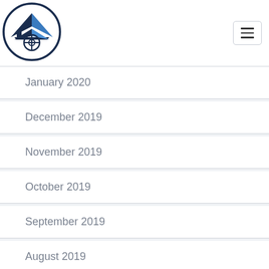[Figure (logo): Real estate / home inspection logo: a house with roof lines forming an eye/arrow shape inside a circle, dark navy blue color]
January 2020
December 2019
November 2019
October 2019
September 2019
August 2019
July 2019
June 2019
May 2019